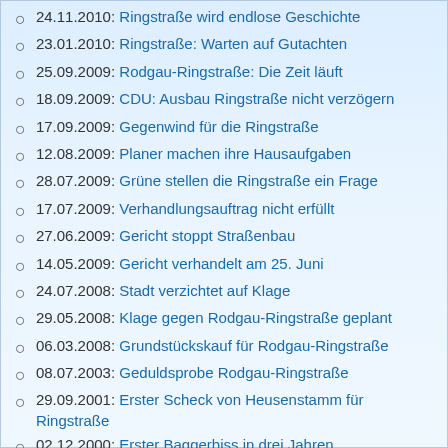24.11.2010: Ringstraße wird endlose Geschichte
23.01.2010: Ringstraße: Warten auf Gutachten
25.09.2009: Rodgau-Ringstraße: Die Zeit läuft
18.09.2009: CDU: Ausbau Ringstraße nicht verzögern
17.09.2009: Gegenwind für die Ringstraße
12.08.2009: Planer machen ihre Hausaufgaben
28.07.2009: Grüne stellen die Ringstraße ein Frage
17.07.2009: Verhandlungsauftrag nicht erfüllt
27.06.2009: Gericht stoppt Straßenbau
14.05.2009: Gericht verhandelt am 25. Juni
24.07.2008: Stadt verzichtet auf Klage
29.05.2008: Klage gegen Rodgau-Ringstraße geplant
06.03.2008: Grundstückskauf für Rodgau-Ringstraße
08.07.2003: Geduldsprobe Rodgau-Ringstraße
29.09.2001: Erster Scheck von Heusenstamm für Ringstraße
02.12.2000: Erster Baggerbiss in drei Jahren
25.11.2000: Ortsteilgespräch mit der CDU